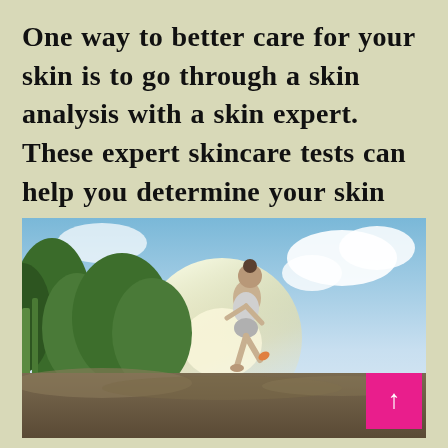One way to better care for your skin is to go through a skin analysis with a skin expert. These expert skincare tests can help you determine your skin type and recommend the best ...
[Figure (photo): A person running outdoors on a rocky trail with green trees and a bright sky with clouds in the background. A pink button with an upward arrow is overlaid in the bottom-right corner of the image.]